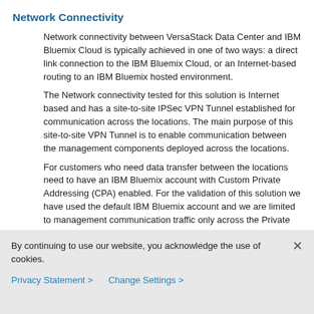Network Connectivity
Network connectivity between VersaStack Data Center and IBM Bluemix Cloud is typically achieved in one of two ways: a direct link connection to the IBM Bluemix Cloud, or an Internet-based routing to an IBM Bluemix hosted environment.
The Network connectivity tested for this solution is Internet based and has a site-to-site IPSec VPN Tunnel established for communication across the locations. The main purpose of this site-to-site VPN Tunnel is to enable communication between the management components deployed across the locations.
For customers who need data transfer between the locations need to have an IBM Bluemix account with Custom Private Addressing (CPA) enabled. For the validation of this solution we have used the default IBM Bluemix account and we are limited to management communication traffic only across the Private and Public Clouds.
For details about the CPA account, see: http://www.softlayer.com/custom-private-addressing
By continuing to use our website, you acknowledge the use of cookies.
Privacy Statement >   Change Settings >